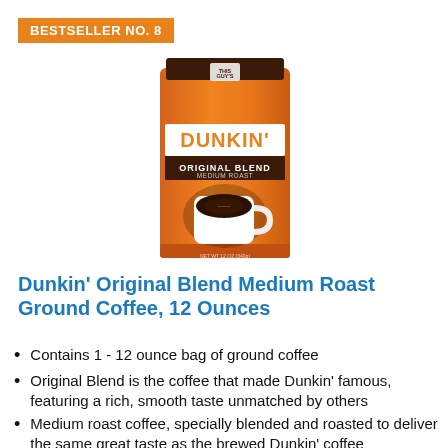BESTSELLER NO. 8
[Figure (photo): Dunkin' Original Blend Medium Roast Ground Coffee 12 oz orange bag with a white coffee cup on front]
Dunkin' Original Blend Medium Roast Ground Coffee, 12 Ounces
Contains 1 - 12 ounce bag of ground coffee
Original Blend is the coffee that made Dunkin' famous, featuring a rich, smooth taste unmatched by others
Medium roast coffee, specially blended and roasted to deliver the same great taste as the brewed Dunkin' coffee